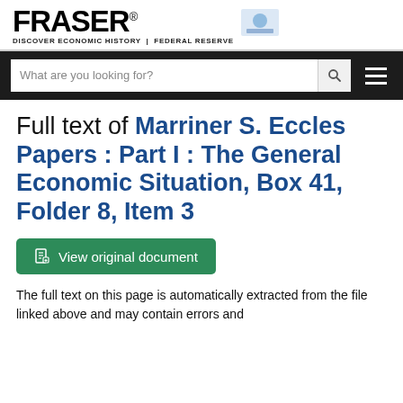FRASER | DISCOVER ECONOMIC HISTORY | FEDERAL RESERVE
Full text of Marriner S. Eccles Papers : Part I : The General Economic Situation, Box 41, Folder 8, Item 3
View original document
The full text on this page is automatically extracted from the file linked above and may contain errors and